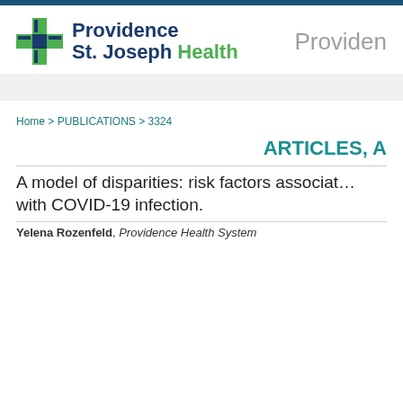[Figure (logo): Providence St. Joseph Health logo with green cross icon and blue/green text, plus 'Providen' text on the right in gray]
Home > PUBLICATIONS > 3324
ARTICLES, A…
A model of disparities: risk factors associated with COVID-19 infection.
Yelena Rozenfeld, Providence Health System